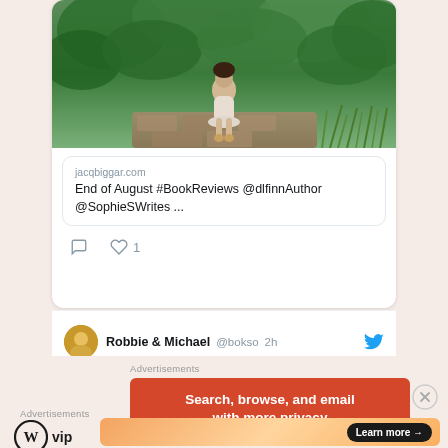[Figure (screenshot): Tweet card showing a photo of a girl sitting in front of green foliage, with a link preview for jacqbiggar.com titled 'End of August #BookReviews @dlfinnAuthor @SophieSWrites ...' and social action icons (comment, heart with 1 like)]
jacqbiggar.com
End of August #BookReviews @dlfinnAuthor @SophieSWrites ...
Robbie & Michael @bokso 2h
Advertisements
[Figure (screenshot): Orange advertisement banner reading 'Search, browse, and email with more privacy']
Advertisements
[Figure (logo): WordPress VIP logo (circle W with 'vip' text)]
[Figure (screenshot): Orange gradient advertisement banner with 'Learn more →' button]